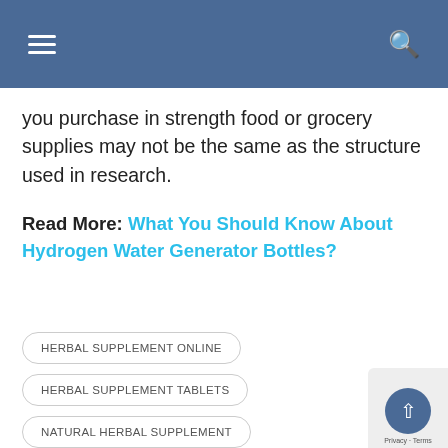Navigation bar with hamburger menu and search icon
you purchase in strength food or grocery supplies may not be the same as the structure used in research.
Read More: What You Should Know About Hydrogen Water Generator Bottles?
HERBAL SUPPLEMENT ONLINE
HERBAL SUPPLEMENT TABLETS
NATURAL HERBAL SUPPLEMENT
NATURAL SUPPLEMENT TABLETS
ORGANIC HERBAL SUPPLEMENT